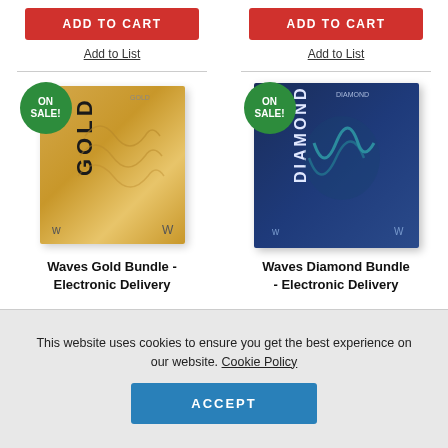ADD TO CART
Add to List
ADD TO CART
Add to List
[Figure (photo): Waves Gold Bundle software box with ON SALE badge - golden colored packaging]
[Figure (photo): Waves Diamond Bundle software box with ON SALE badge - dark blue packaging]
Waves Gold Bundle - Electronic Delivery
Waves Diamond Bundle - Electronic Delivery
This website uses cookies to ensure you get the best experience on our website. Cookie Policy
ACCEPT